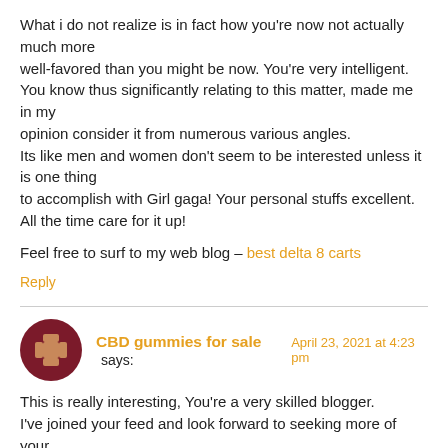What i do not realize is in fact how you're now not actually much more well-favored than you might be now. You're very intelligent. You know thus significantly relating to this matter, made me in my opinion consider it from numerous various angles. Its like men and women don't seem to be interested unless it is one thing to accomplish with Girl gaga! Your personal stuffs excellent. All the time care for it up!
Feel free to surf to my web blog – best delta 8 carts
Reply
CBD gummies for sale says: April 23, 2021 at 4:23 pm
This is really interesting, You're a very skilled blogger. I've joined your feed and look forward to seeking more of your magnificent post.